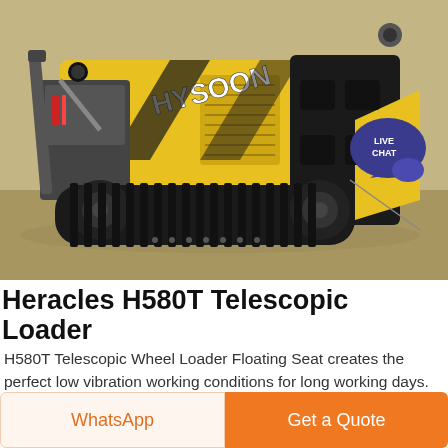[Figure (photo): Hysoon yellow and black tracked mini skid steer telescopic loader on sandy ground, with a LIVE CHAT bubble in the top right corner]
Heracles H580T Telescopic Loader
H580T Telescopic Wheel Loader Floating Seat creates the perfect low vibration working conditions for long working days. From here the operator has easy access to all